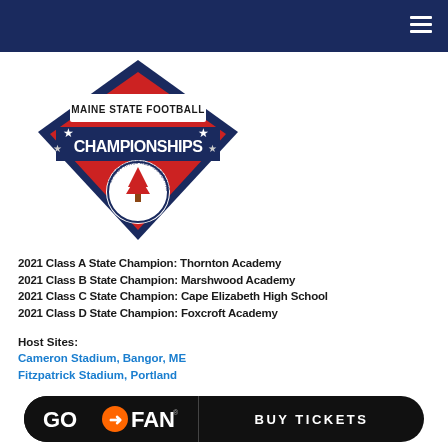Navigation bar with hamburger menu
[Figure (logo): Maine State Football Championships logo — diamond/shield shape in red, white, blue with text 'MAINE STATE FOOTBALL CHAMPIONSHIPS' and Maine Principals Association seal]
2021 Class A State Champion: Thornton Academy
2021 Class B State Champion: Marshwood Academy
2021 Class C State Champion: Cape Elizabeth High School
2021 Class D State Champion: Foxcroft Academy
Host Sites:
Cameron Stadium, Bangor, ME
Fitzpatrick Stadium, Portland
[Figure (logo): GoFan Buy Tickets button — black rounded rectangle with GoFan logo on left and 'BUY TICKETS' text on right]